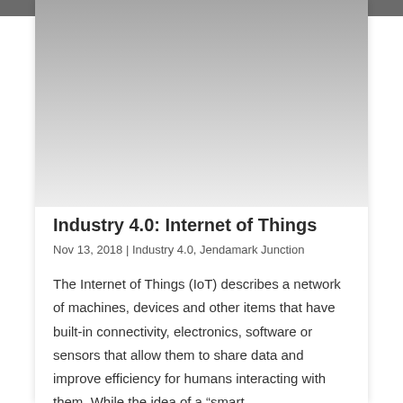[Figure (photo): A blurred/dark photograph strip at the top of the card, appearing to show an industrial or mechanical scene.]
Industry 4.0: Internet of Things
Nov 13, 2018 | Industry 4.0, Jendamark Junction
The Internet of Things (IoT) describes a network of machines, devices and other items that have built-in connectivity, electronics, software or sensors that allow them to share data and improve efficiency for humans interacting with them. While the idea of a "smart…